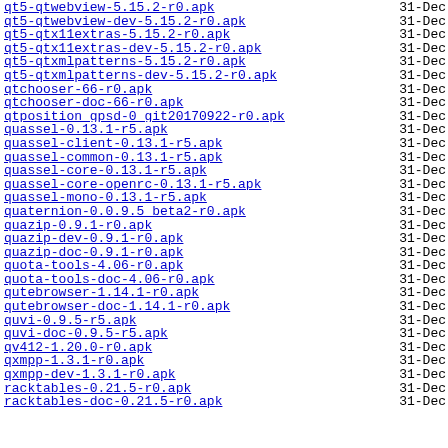qt5-qtwebview-5.15.2-r0.apk  31-Dec
qt5-qtwebview-dev-5.15.2-r0.apk  31-Dec
qt5-qtx11extras-5.15.2-r0.apk  31-Dec
qt5-qtx11extras-dev-5.15.2-r0.apk  31-Dec
qt5-qtxmlpatterns-5.15.2-r0.apk  31-Dec
qt5-qtxmlpatterns-dev-5.15.2-r0.apk  31-Dec
qtchooser-66-r0.apk  31-Dec
qtchooser-doc-66-r0.apk  31-Dec
qtposition_gpsd-0_git20170922-r0.apk  31-Dec
quassel-0.13.1-r5.apk  31-Dec
quassel-client-0.13.1-r5.apk  31-Dec
quassel-common-0.13.1-r5.apk  31-Dec
quassel-core-0.13.1-r5.apk  31-Dec
quassel-core-openrc-0.13.1-r5.apk  31-Dec
quassel-mono-0.13.1-r5.apk  31-Dec
quaternion-0.0.9.5_beta2-r0.apk  31-Dec
quazip-0.9.1-r0.apk  31-Dec
quazip-dev-0.9.1-r0.apk  31-Dec
quazip-doc-0.9.1-r0.apk  31-Dec
quota-tools-4.06-r0.apk  31-Dec
quota-tools-doc-4.06-r0.apk  31-Dec
qutebrowser-1.14.1-r0.apk  31-Dec
qutebrowser-doc-1.14.1-r0.apk  31-Dec
quvi-0.9.5-r5.apk  31-Dec
quvi-doc-0.9.5-r5.apk  31-Dec
qv412-1.20.0-r0.apk  31-Dec
qxmpp-1.3.1-r0.apk  31-Dec
qxmpp-dev-1.3.1-r0.apk  31-Dec
racktables-0.21.5-r0.apk  31-Dec
racktables-doc-0.21.5-r0.apk  31-Dec